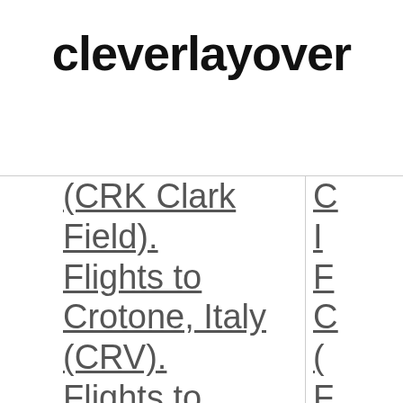cleverlayover
| (CRK Clark Field). Flights to Crotone, Italy (CRV). Flights to ... | F... C... (... F... |